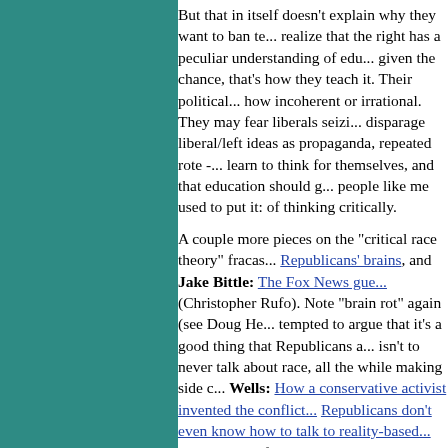But that in itself doesn't explain why they want to ban te... realize that the right has a peculiar understanding of edu... given the chance, that's how they teach it. Their political... how incoherent or irrational. They may fear liberals seizi... disparage liberal/left ideas as propaganda, repeated rote -... learn to think for themselves, and that education should g... people like me used to put it: of thinking critically.
A couple more pieces on the "critical race theory" fracas... Republicans' brains, and Jake Bittle: The Fox News gue... (Christopher Rufo). Note "brain rot" again (see Doug He... tempted to argue that it's a good thing that Republicans a... isn't to never talk about race, all the while making side c... Wells: How a conservative activist invented the conflict... Republicans don't even know how to talk to reality-based... we've known for a long time, with conservatives everyth...
Aldous J Pennyfarthing: The dumbest man in Congress... really: Clickbait. Had to see who they referred to, given s... hand, his fellow Republicans are trying harder; e.g., see l... mantle of most extremist Georgian in Congress. Also Jos... Olympic athletes, and anti-China conspiracies.
Luke Savage: Novelist Cory Doctorow on the problem w... blogger/journalist, "not related to novelist E.L. Doctorow...